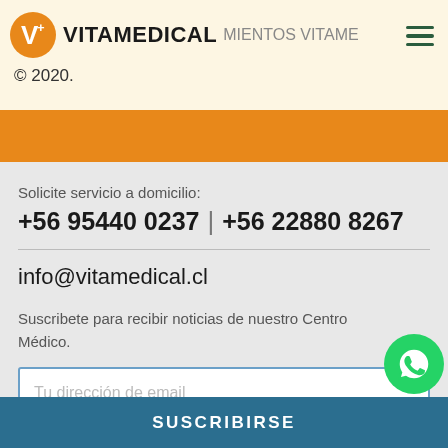VITAMEDICAL · TRATAMIENTOS VITAME...
© 2020.
Solicite servicio a domicilio:
+56 95440 0237 | +56 22880 8267
info@vitamedical.cl
Suscribete para recibir noticias de nuestro Centro Médico.
Tu dirección de email
SUSCRIBIRSE